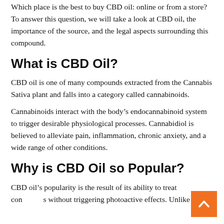Which place is the best to buy CBD oil: online or from a store? To answer this question, we will take a look at CBD oil, the importance of the source, and the legal aspects surrounding this compound.
What is CBD Oil?
CBD oil is one of many compounds extracted from the Cannabis Sativa plant and falls into a category called cannabinoids.
Cannabinoids interact with the body’s endocannabinoid system to trigger desirable physiological processes. Cannabidiol is believed to alleviate pain, inflammation, chronic anxiety, and a wide range of other conditions.
Why is CBD Oil so Popular?
CBD oil’s popularity is the result of its ability to treat conditions without triggering photoactive effects. Unlike tetrahydrocannabinoid, or cannabinoid from…